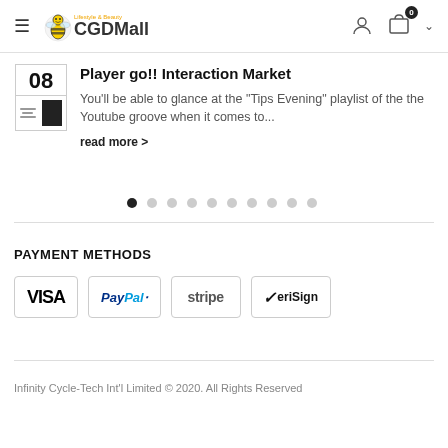[Figure (logo): CGDMall logo with bee icon and Lifestyle & Beauty tagline]
Player go!! Interaction Market
You'll be able to glance at the "Tips Evening" playlist of the the Youtube groove when it comes to...
read more >
[Figure (other): Pagination dots row, 10 dots, first dot active]
PAYMENT METHODS
[Figure (other): Payment method logos: VISA, PayPal, stripe, VeriSign]
Infinity Cycle-Tech Int'l Limited © 2020. All Rights Reserved